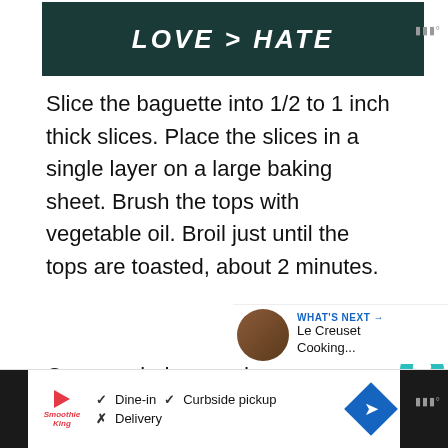[Figure (screenshot): Dark teal banner image with bold white italic text reading 'LOVE > HATE']
Slice the baguette into 1/2 to 1 inch thick slices. Place the slices in a single layer on a large baking sheet. Brush the tops with vegetable oil. Broil just until the tops are toasted, about 2 minutes.
Once cooled, spread mascarpone over each slice. Top with berries, then drizzle with honey.
[Figure (screenshot): Bottom advertisement bar with Smoothie King logo, dine-in/curbside pickup checkmarks, delivery with X, and blue navigation diamond icon]